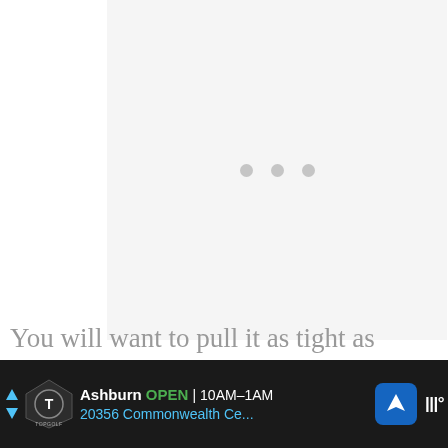[Figure (other): Loading placeholder area with three gray dots indicating content is loading, on a light gray background]
You will want to pull it as tight as
[Figure (other): Advertisement bar for Topgolf - Ashburn location. Shows Topgolf logo, 'Ashburn OPEN 10AM-1AM', '20356 Commonwealth Ce...' address, navigation arrow icon, and weather/temperature icons on dark background]